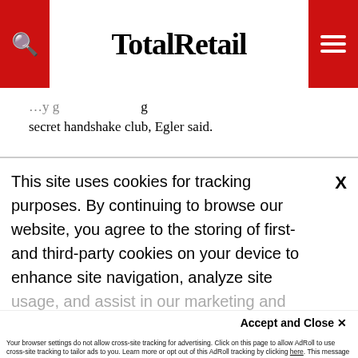TotalRetail
secret handshake club, Egler said.
2022 Retail Technology Report
This annual Total Retail report provides valuable insights into the technology landscape, including an analysis of trends, buying behaviors, and future opportunities.
This site uses cookies for tracking purposes. By continuing to browse our website, you agree to the storing of first- and third-party cookies on your device to enhance site navigation, analyze site usage, and assist in our marketing and
Accept and Close ✕
Your browser settings do not allow cross-site tracking for advertising. Click on this page to allow AdRoll to use cross-site tracking to tailor ads to you. Learn more or opt out of this AdRoll tracking by clicking here. This message only appears once.